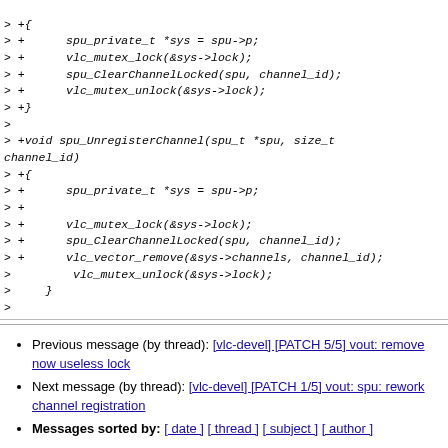> +{
> +      spu_private_t *sys = spu->p;
> +      vlc_mutex_lock(&sys->lock);
> +      spu_ClearChannelLocked(spu, channel_id);
> +      vlc_mutex_unlock(&sys->lock);
> +}
>
> +void spu_UnregisterChannel(spu_t *spu, size_t channel_id)
> +{
> +      spu_private_t *sys = spu->p;
> +
> +      vlc_mutex_lock(&sys->lock);
> +      spu_ClearChannelLocked(spu, channel_id);
> +      vlc_vector_remove(&sys->channels, channel_id);
>         vlc_mutex_unlock(&sys->lock);
>     }
>
Previous message (by thread): [vlc-devel] [PATCH 5/5] vout: remove now useless lock
Next message (by thread): [vlc-devel] [PATCH 1/5] vout: spu: rework channel registration
Messages sorted by: [ date ] [ thread ] [ subject ] [ author ]
More information about the vlc-devel mailing list